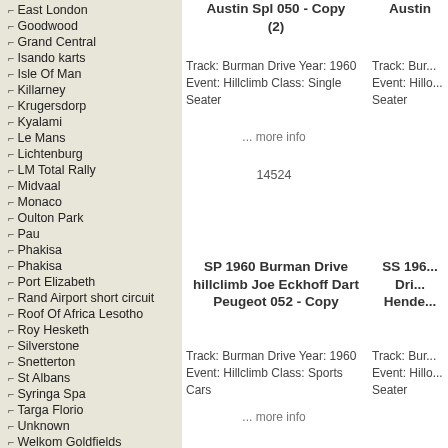East London
Goodwood
Grand Central
Isando karts
Isle Of Man
Killarney
Krugersdorp
Kyalami
Le Mans
Lichtenburg
LM Total Rally
Midvaal
Monaco
Oulton Park
Pau
Phakisa
Phakisa
Port Elizabeth
Rand Airport short circuit
Roof Of Africa Lesotho
Roy Hesketh
Silverstone
Snetterton
St Albans
Syringa Spa
Targa Florio
Unknown
Welkom Goldfields
Westmead
William Gray
Zandvoort
Zwartkops
Years->
New Products ...
All Products ...
Austin Spl 050 - Copy (2)
Track: Burman Drive Year: 1960 Event: Hillclimb Class: Single Seater
... more info
14524
SP 1960 Burman Drive hillclimb Joe Eckhoff Dart Peugeot 052 - Copy
Track: Burman Drive Year: 1960 Event: Hillclimb Class: Sports Cars
... more info
Austin
Track: Bur... Event: Hillo... Seater
SS 196... Dri... Hende...
Track: Bur... Event: Hillo... Seater